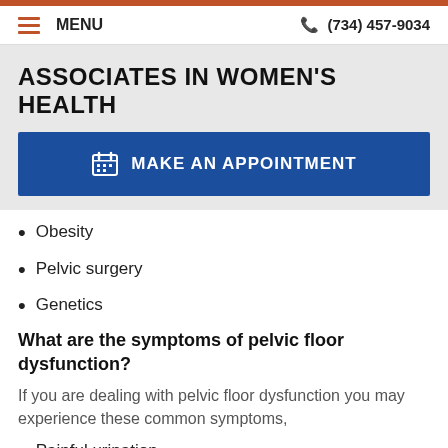MENU  (734) 457-9034
ASSOCIATES IN WOMEN'S HEALTH
[Figure (other): Blue button: MAKE AN APPOINTMENT with calendar icon]
Obesity
Pelvic surgery
Genetics
What are the symptoms of pelvic floor dysfunction?
If you are dealing with pelvic floor dysfunction you may experience these common symptoms,
Painful urination
An increased urge to urinate